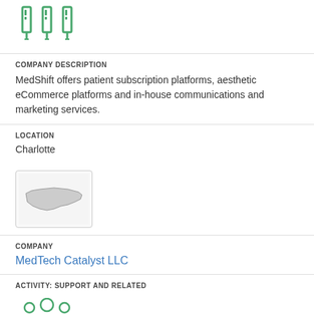[Figure (illustration): Green icon of three test tubes or syringes]
COMPANY DESCRIPTION
MedShift offers patient subscription platforms, aesthetic eCommerce platforms and in-house communications and marketing services.
LOCATION
Charlotte
[Figure (illustration): Small map thumbnail showing state outline (North Carolina)]
COMPANY
MedTech Catalyst LLC
ACTIVITY: SUPPORT AND RELATED
[Figure (illustration): Green icon of group of people / team]